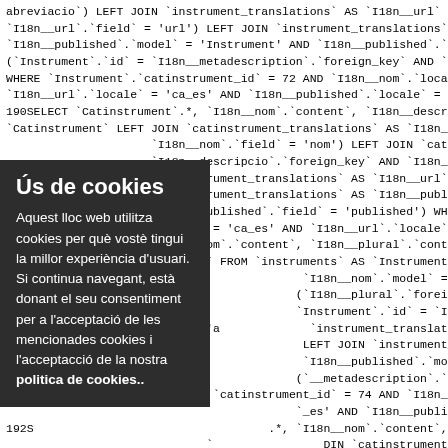abreviacio`) LEFT JOIN `instrument_translations` AS `I18n__url` ON (`Instrument`.`id` = `I18n__url`.`field` = 'url') LEFT JOIN `instrument_translations` AS `I18n__published` ON `I18n__published`.`model` = 'Instrument' AND `I18n__published`.`field` = 'published') LE (`Instrument`.`id` = `I18n__metadescription`.`foreign_key` AND `I18n__metadescription`. WHERE `Instrument`.`catinstrument_id` = 72 AND `I18n__nom`.`locale` = 'ca_es' AND `I `I18n__url`.`locale` = 'ca_es' AND `I18n__published`.`locale` = 'ca_es' AND `I18n__meta 190SELECT `Catinstrument`.*, `I18n__nom`.`content`, `I18n__descripcio`.`content`, `I18n__ `Catinstrument` LEFT JOIN `catinstrument_translations` AS `I18n__nom` ON (`Catinstru `I18n__nom`.`field` = 'nom') LEFT JOIN `catinstrument_translations `I18n__descripcio`.`foreign_key` AND `I18n__descripcio`.`model` = 'Catinstrument' AND `catinstrument_translations` AS `I18n__url` ON (`Catinstrument`.`id` = `I18n__url`.`foreig `catinstrument_translations` AS `I18n__published` ON (`Catinstrument`. `I18n__published`.`field` = 'published') WHERE `Catinstrument`.`pa `locale` = 'ca_es' AND `I18n__url`.`locale` = 'ca_es' AND `I18n__publ 191S `I18n__nom`.`content`, `I18n__plural`.`content`, `I18n__abreviac `content` FROM `instruments` AS `Instrument` LEFT JOIN `inst `I18n__nom`.`model` = 'Instrument' AND `I18n__nom`. `I18n__plural`.`foreign_key` AND `I18n__plural`.`model` = 'Instrumen `Instrument`.`id` = `I18n__abreviacio`.`foreign_key` AND `I18n_ `instrument_translations` AS `I18n__url` ON (`Instrument`.`id` = LEFT JOIN `instrument_translations` AS `I18n__published` ON `I18n__published`.`model` = 'Instrument' AND `I18n__published`.`field` = 'published') LE `__metadescription`.`foreign_key` AND `I18n__metadescription`. `catinstrument_id` = 74 AND `I18n__nom`.`locale` = 'ca_es' AND `I `_es' AND `I18n__published`.`locale` = 'ca_es' AND `I18n__meta 192S .*, `I18n__nom`.`content`, `I18n__descripcio`.`content`, `I18n__ `DIN `catinstrument_translations` AS `I18n__nom` ON (`Catinstru `Catinstrument` AND `I18n__nom`.`field` = 'nom') LEFT JOIN `catinstrument_translations `I18n__descripcio`.`foreign_key` AND `I18n__descripcio`.`model` = 'Catinstrument' AND `catinstrument_translations` AS `I18n__url` ON (`Catinstrument`.`id` = `I18n__url`.`foreig 'url') LEFT JOIN `catinstrument_translations` AS `I18n__published` ON (`Catinstrument`. `Catinstrument` AND `I18n__published`.`field` = 'published') WHERE `Catinstrument`.`i
[Figure (other): Cookie consent overlay with dark background. Title: 'Ús de cookies'. Body text: 'Aquest lloc web utilitza cookies per què vostè tingui la millor experiència d'usuari. Si continua navegant, està donant el seu consentiment per a l'acceptació de les mencionades cookies i l'acceptacció de la nostra politica de cookies..']